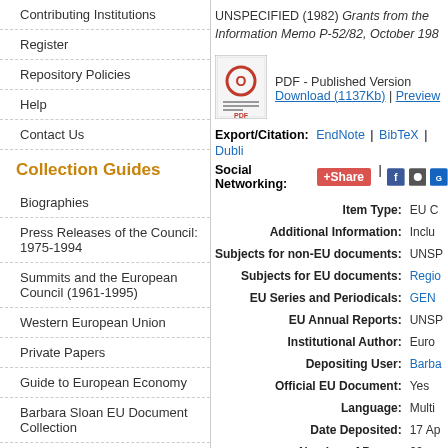Contributing Institutions
Register
Repository Policies
Help
Contact Us
Collection Guides
Biographies
Press Releases of the Council: 1975-1994
Summits and the European Council (1961-1995)
Western European Union
Private Papers
Guide to European Economy
Barbara Sloan EU Document Collection
Search and Browse
UNSPECIFIED (1982) Grants from the Information Memo P-52/82, October 198...
[Figure (other): PDF icon for published version download]
PDF - Published Version Download (1137Kb) | Preview
Export/Citation: EndNote | BibTeX | Dubli...
Social Networking: +Share | Facebook | Twitter | Other
| Field | Value |
| --- | --- |
| Item Type: | EU C... |
| Additional Information: | Inclu... |
| Subjects for non-EU documents: | UNSP... |
| Subjects for EU documents: | Regio... |
| EU Series and Periodicals: | GEN... |
| EU Annual Reports: | UNSP... |
| Institutional Author: | Euro... |
| Depositing User: | Barba... |
| Official EU Document: | Yes |
| Language: | Multi... |
| Date Deposited: | 17 Ap... |
| Number of Pages: | 29... |